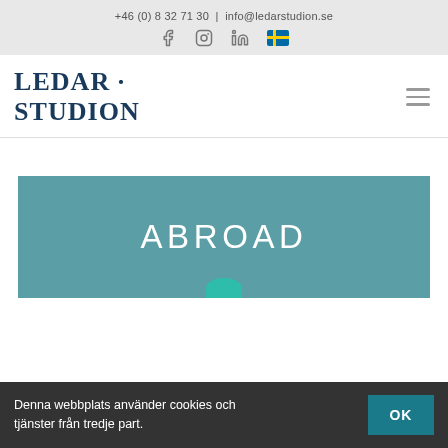+46 (0) 8 32 71 30 | info@ledarstudion.se
[Figure (logo): Social media icons: Facebook, Instagram, LinkedIn, Swedish flag]
[Figure (logo): Ledar Studion logo with dot between words, dark navy serif text]
[Figure (other): Hamburger menu icon (three horizontal lines)]
ABROAD
Denna webbplats använder cookies och tjänster från tredje part.
OK